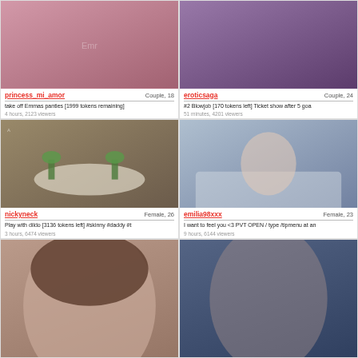[Figure (photo): Couple stream thumbnail - person in pink top]
princess_mi_amor   Couple, 18
take off Emmas panties [1999 tokens remaining]
4 hours, 2123 viewers
[Figure (photo): Couple stream thumbnail - person with tattoos]
eroticsaga   Couple, 24
#2 Blowjob [170 tokens left] Ticket show after 5 goa
51 minutes, 4201 viewers
[Figure (photo): Female stream thumbnail - bathroom with bathtub and plants]
nickyneck   Female, 26
Play with dildo [3136 tokens left] #skinny #daddy #t
3 hours, 6474 viewers
[Figure (photo): Female stream thumbnail - woman in blue lingerie on bed]
emilia98xxx   Female, 23
I want to feel you <3 PVT OPEN / type /tipmenu at an
9 hours, 6144 viewers
[Figure (photo): Female stream thumbnail - brunette woman selfie]
[Figure (photo): Female stream thumbnail - dark scene]